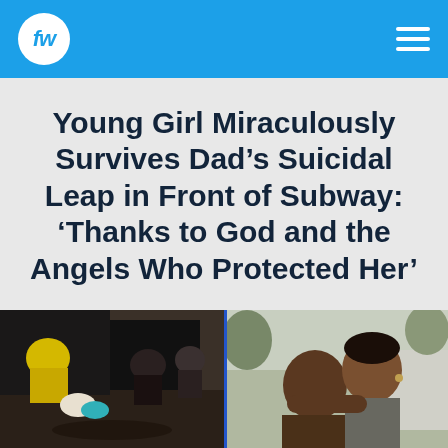fw
Young Girl Miraculously Survives Dad’s Suicidal Leap in Front of Subway: ‘Thanks to God and the Angels Who Protected Her’
[Figure (photo): Left photo: emergency responders and bystanders crouching near a subway train, attending to someone on the ground. Right photo: a young Black girl being embraced/kissed by an older man outdoors near a vehicle.]